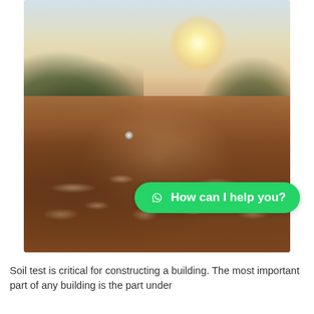[Figure (photo): Close-up ground-level photograph of bare soil with small pebbles and rocks in the foreground, trees silhouetted on the horizon in the background, and bright sunlight in the sky above.]
How can I help you?
Soil test is critical for constructing a building. The most important part of any building is the part under